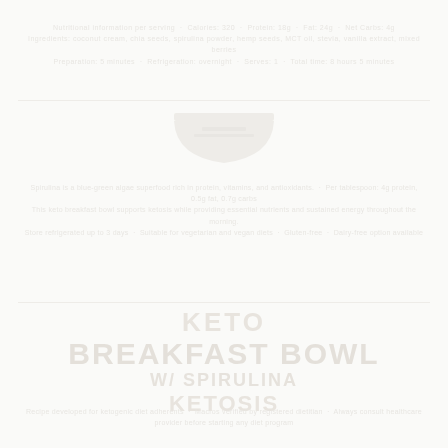Nutritional information and recipe details for keto breakfast bowl with spirulina. Contains macronutrient breakdown and preparation instructions.
[Figure (illustration): Faint watermark-style icon of a bowl or food container centered in upper portion of page]
Ingredient list and nutritional values per serving. Preparation time and serving suggestions included below.
KETO / BREAKFAST BOWL / w/ SPIRULINA / KETOSIS
Additional recipe notes, storage information, and dietary considerations for this keto-friendly breakfast option.